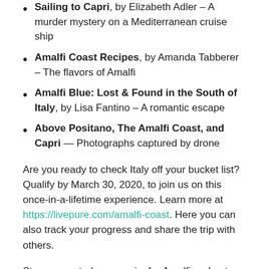Sailing to Capri, by Elizabeth Adler – A murder mystery on a Mediterranean cruise ship
Amalfi Coast Recipes, by Amanda Tabberer – The flavors of Amalfi
Amalfi Blue: Lost & Found in the South of Italy, by Lisa Fantino – A romantic escape
Above Positano, The Amalfi Coast, and Capri — Photographs captured by drone
Are you ready to check Italy off your bucket list? Qualify by March 30, 2020, to join us on this once-in-a-lifetime experience. Learn more at https://livepure.com/amalfi-coast. Here you can also track your progress and share the trip with others.
Stay connected as you aim for Amalfi and get ready to